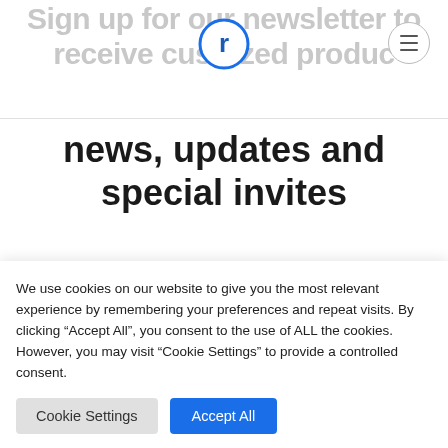Sign up for our newsletter to receive customized product
news, updates and special invites
Your Email (required)
We use cookies on our website to give you the most relevant experience by remembering your preferences and repeat visits. By clicking “Accept All”, you consent to the use of ALL the cookies. However, you may visit “Cookie Settings” to provide a controlled consent.